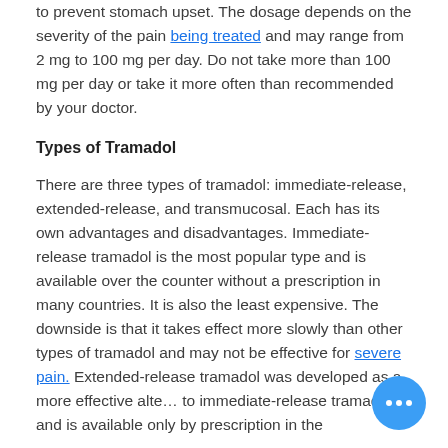to prevent stomach upset. The dosage depends on the severity of the pain being treated and may range from 2 mg to 100 mg per day. Do not take more than 100 mg per day or take it more often than recommended by your doctor.
Types of Tramadol
There are three types of tramadol: immediate-release, extended-release, and transmucosal. Each has its own advantages and disadvantages. Immediate-release tramadol is the most popular type and is available over the counter without a prescription in many countries. It is also the least expensive. The downside is that it takes effect more slowly than other types of tramadol and may not be effective for severe pain. Extended-release tramadol was developed as a more effective alternative to immediate-release tramadol and is available only by prescription in the
[Figure (other): Blue circular chat/more-options button with three white dots]